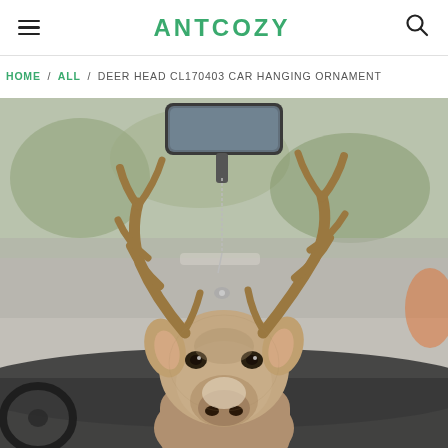ANTCOZY
HOME / ALL / DEER HEAD CL170403 CAR HANGING ORNAMENT
[Figure (photo): Product photo of a realistic deer head car hanging ornament suspended from a car rearview mirror, photographed inside a car with blurred road background.]